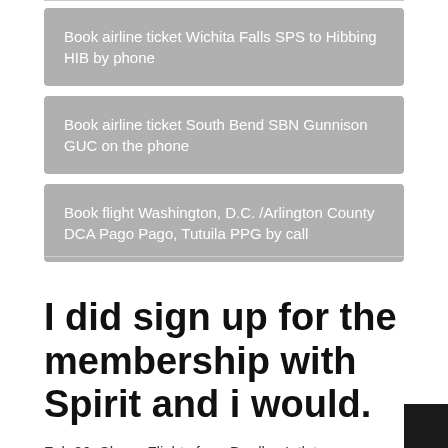Book airline ticket Wichita Falls SPS to Hibbing HIB by phone
Book airline ticket South Bend SBN Gunnison GUC on the phone
Book flight Washington, D.C. /Arlington County DCA Pago Pago, Tutuila PPG by call
I did sign up for the membership with Spirit and i would.
Feb 06, Cheap Flights from Bradley Intl. to Philadelphia Intl.